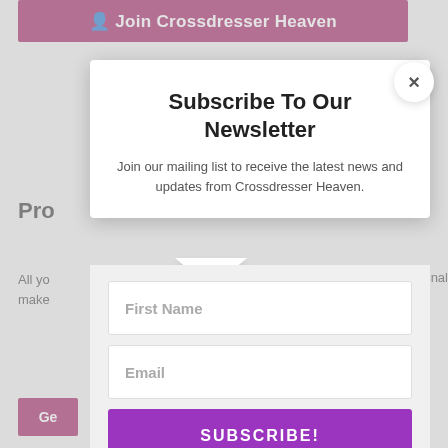[Figure (screenshot): Background webpage of Crossdresser Heaven with magenta top bar showing 'Join Crossdresser Heaven', partial page text, and a magenta 'Get' button]
Subscribe To Our Newsletter
Join our mailing list to receive the latest news and updates from Crossdresser Heaven.
First Name
Email
SUBSCRIBE!
We hate spam too, unsubscribe at any time.